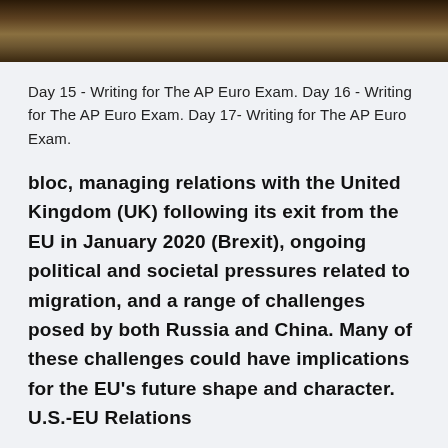[Figure (photo): Partial image of animals or nature scene at the top of the page, cropped]
Day 15 - Writing for The AP Euro Exam. Day 16 - Writing for The AP Euro Exam. Day 17- Writing for The AP Euro Exam.
bloc, managing relations with the United Kingdom (UK) following its exit from the EU in January 2020 (Brexit), ongoing political and societal pressures related to migration, and a range of challenges posed by both Russia and China. Many of these challenges could have implications for the EU's future shape and character. U.S.-EU Relations